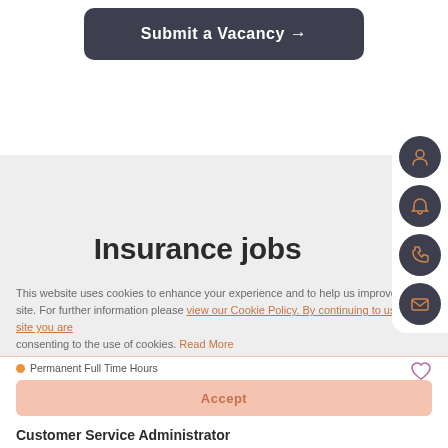[Figure (screenshot): Dark rounded button with text 'Submit a Vacancy →']
[Figure (infographic): Sidebar icon panel with four dark circular icons: person, bell, phone, envelope]
Insurance jobs
This website uses cookies to enhance your experience and to help us improve the site. For further information please view our Cookie Policy. By continuing to use this site you are consenting to the use of cookies. Read More
Permanent Full Time Hours
Accept
Customer Service Administrator